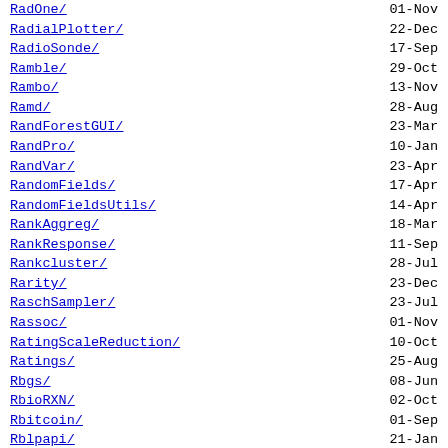RadOne/ 01-Nov
RadialPlotter/ 22-Dec
RadioSonde/ 17-Sep
Ramble/ 29-Oct
Rambo/ 13-Nov
Ramd/ 28-Aug
RandForestGUI/ 23-Mar
RandPro/ 10-Jan
RandVar/ 23-Apr
RandomFields/ 17-Apr
RandomFieldsUtils/ 14-Apr
RankAggreg/ 18-Mar
RankResponse/ 11-Sep
Rankcluster/ 28-Jul
Rarity/ 23-Dec
RaschSampler/ 23-Jul
Rassoc/ 01-Nov
RatingScaleReduction/ 10-Oct
Ratings/ 25-Aug
Rbgs/ 08-Jun
RbioRXN/ 02-Oct
Rbitcoin/ 01-Sep
Rblpapi/ 21-Jan
Rborist/ 01-Aug
Rcapture/ 28-Aug
Rcell/ 27-Jan
Rcereal/ 26-Jan
RcextTools/ 05-Sep
Rcgmin/ 05-Dec
Rchemcpp/ 26-Apr
RchivalTag/ 22-Jan